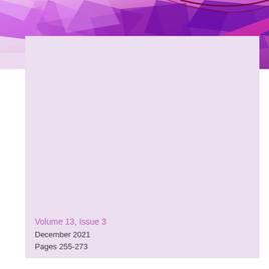[Figure (photo): Abstract purple and violet crumpled/folded material with magenta/pink ribbon or wave element across the top portion of the page]
Volume 13, Issue 3
December 2021
Pages 255-273